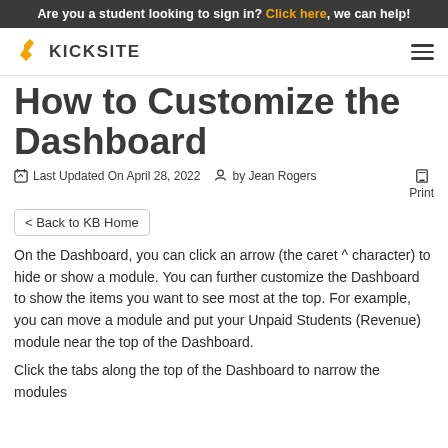Are you a student looking to sign in? Click here, we can help!
[Figure (logo): Kicksite logo with stylized martial arts figure and bold KICKSITE text]
How to Customize the Dashboard
Last Updated On April 28, 2022   by Jean Rogers   Print
< Back to KB Home
On the Dashboard, you can click an arrow (the caret ^ character) to hide or show a module. You can further customize the Dashboard to show the items you want to see most at the top. For example, you can move a module and put your Unpaid Students (Revenue) module near the top of the Dashboard.
Click the tabs along the top of the Dashboard to narrow the modules